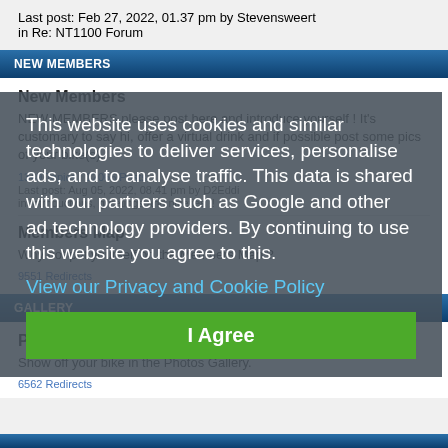Last post: Feb 27, 2022, 01.37 pm by Stevensweert
in Re: NT1100 Forum
NEW MEMBERS
New Members
NEW MEMBERS please post here and introduce yourself ! It's customary to say hi, offer a virtual drink and if possible post some pics of your bike(s).
1349 Topics   12066 Posts
Last post: Aug 05, 2022, 08.41 pm by D2Eddi
in Introductions, greetings and niceties !!
Members Map
Why not put yourself on the Members Map ?
9551 Redirects
GALLERY
Photos Gallery
Show off your bike in the Photos Gallery.
6562 Redirects
This website uses cookies and similar technologies to deliver services, personalise ads, and to analyse traffic. This data is shared with our partners such as Google and other ad technology providers. By continuing to use this website you agree to this.
View our Privacy and Cookie Policy
I Agree